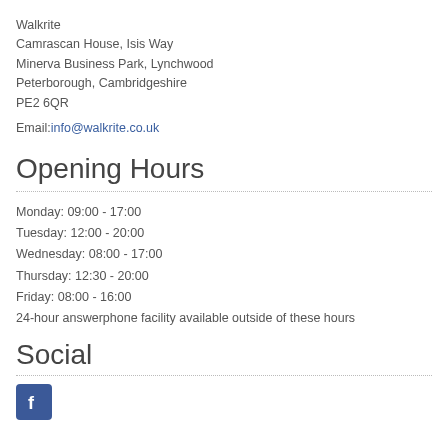Walkrite
Camrascan House, Isis Way
Minerva Business Park, Lynchwood
Peterborough, Cambridgeshire
PE2 6QR
Email: info@walkrite.co.uk
Opening Hours
Monday: 09:00 - 17:00
Tuesday: 12:00 - 20:00
Wednesday: 08:00 - 17:00
Thursday: 12:30 - 20:00
Friday: 08:00 - 16:00
24-hour answerphone facility available outside of these hours
Social
[Figure (logo): Facebook logo icon — blue square with white 'f']